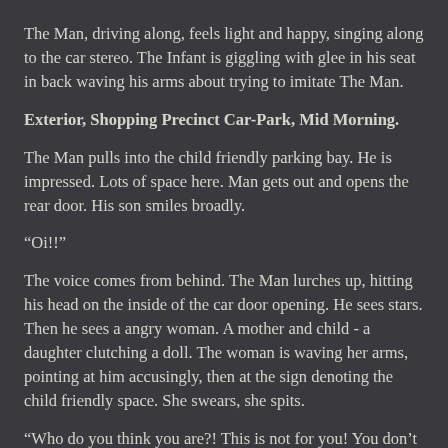The Man, driving along, feels light and happy, singing along to the car stereo. The Infant is giggling with glee in his seat in back waving his arms about trying to imitate The Man.
Exterior, Shopping Precinct Car-Park, Mid Morning.
The Man pulls into the child friendly parking bay. He is impressed. Lots of space here. Man gets out and opens the rear door. His son smiles broadly.
“Oi!!”
The voice comes from behind. The Man lurches up, hitting his head on the inside of the car door opening. He sees stars. Then he sees a angry woman. A mother and child - a daughter clutching a doll. The woman is waving her arms, pointing at him accusingly, then at the sign denoting the child friendly space. She swears, she spits.
“Who do you think you are?! This is not for you! You don’t belong here!”